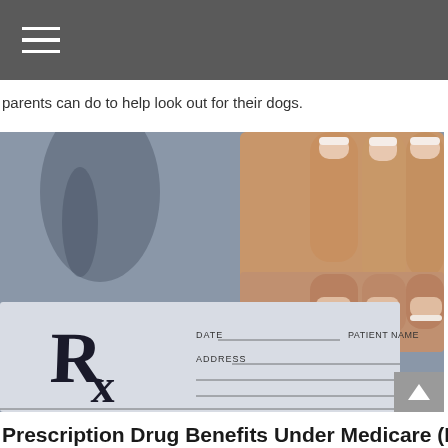parents can do to help look out for their dogs.
[Figure (photo): A hand with manicured nails holding a prescription pad showing Rx symbol, DATE, PATIENT NAME, and ADDRESS fields, with a stethoscope visible in the blurred background.]
Prescription Drug Benefits Under Medicare (Part